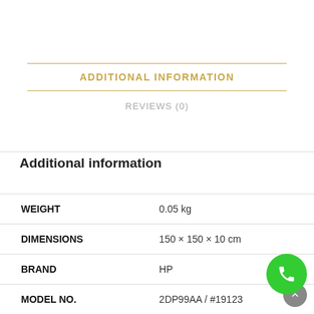ADDITIONAL INFORMATION
REVIEWS (0)
Additional information
| WEIGHT | 0.05 kg |
| DIMENSIONS | 150 × 150 × 10 cm |
| BRAND | HP |
| MODEL NO. | 2DP99AA / #19123 |
| WEIGHT | 0.05 Kg |